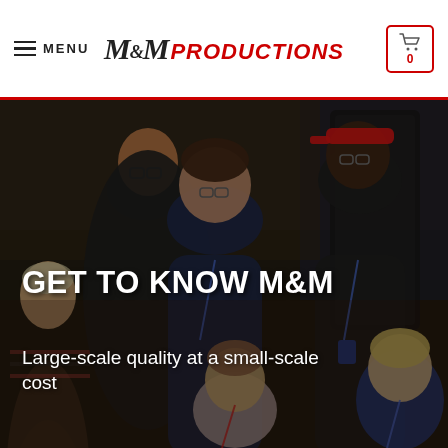MENU | M&M PRODUCTIONS | 0
[Figure (photo): Group photo of M&M Productions team members, several young adults smiling at the camera, some wearing lanyards/badges, standing indoors near a dark door. Text overlay reads 'GET TO KNOW M&M' and 'Large-scale quality at a small-scale cost'.]
GET TO KNOW M&M
Large-scale quality at a small-scale cost